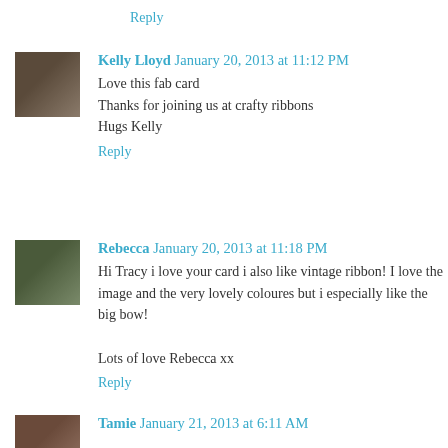Reply
Kelly Lloyd  January 20, 2013 at 11:12 PM
Love this fab card
Thanks for joining us at crafty ribbons
Hugs Kelly
Reply
Rebecca  January 20, 2013 at 11:18 PM
Hi Tracy i love your card i also like vintage ribbon! I love the image and the very lovely coloures but i especially like the big bow!

Lots of love Rebecca xx
Reply
Tamie  January 21, 2013 at 6:11 AM